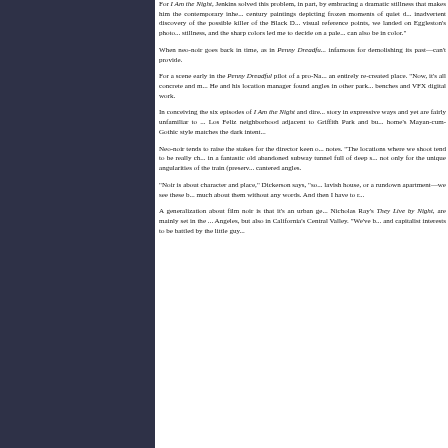[Figure (photo): Dark blue-grey textured background panel on the left side of the page]
For I Am the Night, Jenkins solved this problem, in part, by embracing a dramatic stillness that makes him the contemporary inheritor of the 19th century paintings depicting frozen moments of quiet drama. As for the inadvertent discovery of the possible killer of the Black Dahlia as among his visual reference points, we landed on Eggleston's photographs for their stillness, and the sharp colors led me to decide on a palette that is dark but can also be in color.
When neo-noir goes back in time, as in Penny Dreadful, it seeks what a city infamous for demolishing its past—can't provide.
For a scene early in the Penny Dreadful pilot of a pro-Nazi rally, they needed an entirely re-created place. "Now, it's all concrete and modern," he says. He and his location manager found angles in other parks, supplemented by benches and VFX digital work.
In conceiving the six episodes of I Am the Night and directing two, Jenkins sought to tell the story in expressive ways and yet are fairly unfamiliar to most. He found the Los Feliz neighborhood adjacent to Griffith Park and built around a eccentric home's Mayan-cum-Gothic style matches the dark intent.
Neo-noir tends to raise the stakes for the director keen on atmosphere, Jenkins notes. "The locations where we shoot tend to be really challenging." They shot in a fantastic old abandoned subway tunnel full of deep shadows chosen not only for the unique angularities of the train (preserved intact) but also for its cantered angles.
"Noir is about character and place," Dickerson says, "so whether it's a very lavish house, or a rundown apartment—we see these before we know very much about them without any words. And then I have to relate that to what—"
A generalization about film noir is that it's an urban genre, but films like Nicholas Ray's They Live by Night, are mainly set in the outskirts of Los Angeles, but also in California's Central Valley. "We've been fighting anti-capitalist interests to be battled by the little guy."